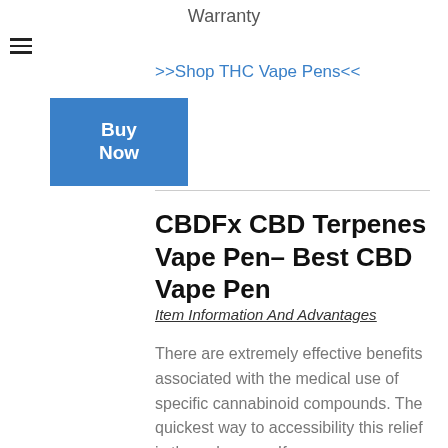Warranty
>>Shop THC Vape Pens<<
[Figure (other): Blue 'Buy Now' button]
CBDFx CBD Terpenes Vape Pen– Best CBD Vape Pen
Item Information And Advantages
There are extremely effective benefits associated with the medical use of specific cannabinoid compounds. The quickest way to accessibility this relief is through vapor. If you are a person that is